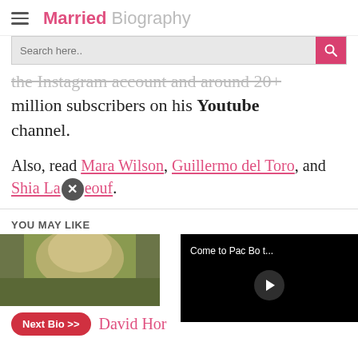Married Biography
the Instagram account and around 20+ million subscribers on his Youtube channel.
Also, read Mara Wilson, Guillermo del Toro, and Shia LaBeouf.
YOU MAY LIKE
[Figure (screenshot): Thumbnail of a person with blonde hair, partial view]
[Figure (screenshot): Video overlay with title 'Come to Pac Bo t...' and play button on black background]
Next Bio >> David Hor...